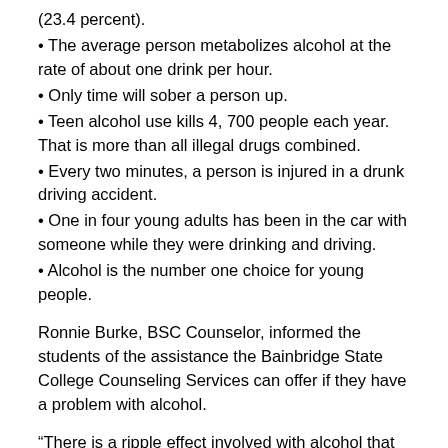(23.4 percent).
• The average person metabolizes alcohol at the rate of about one drink per hour.
• Only time will sober a person up.
• Teen alcohol use kills 4, 700 people each year. That is more than all illegal drugs combined.
• Every two minutes, a person is injured in a drunk driving accident.
• One in four young adults has been in the car with someone while they were drinking and driving.
• Alcohol is the number one choice for young people.
Ronnie Burke, BSC Counselor, informed the students of the assistance the Bainbridge State College Counseling Services can offer if they have a problem with alcohol.
“There is a ripple effect involved with alcohol that goes beyond a hangover,” said Burke. “There are long-term regrets. College students also spend more money on alcohol than they do textbooks. Think of the money that could be saved.”